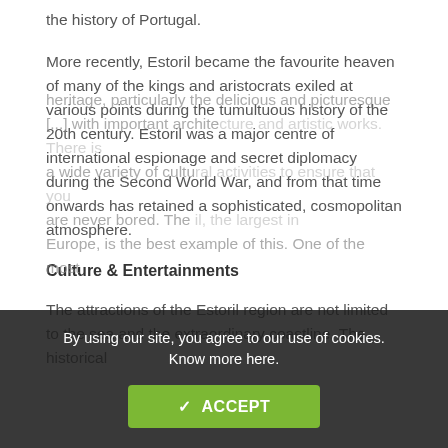the history of Portugal.
More recently, Estoril became the favourite heaven of many of the kings and aristocrats exiled at various points during the tumultuous history of the 20th century. Estoril was a major centre of international espionage and secret diplomacy during the Second World War, and from that time onwards has retained a sophisticated, cosmopolitan atmosphere.
Culture & Entertainments
The attractions of the Estoril region are not limited to the sea and the extraordinary coastline. The historical heritage, particularly the delicious and picturesque [...] with important architecture and artistic works. There is a wide variety of cultural activities to ensure that you are never bored. The [...] il, the largest in Europe, is the best example of this. One of the most
By using our site, you agree to our use of cookies. Know more here.